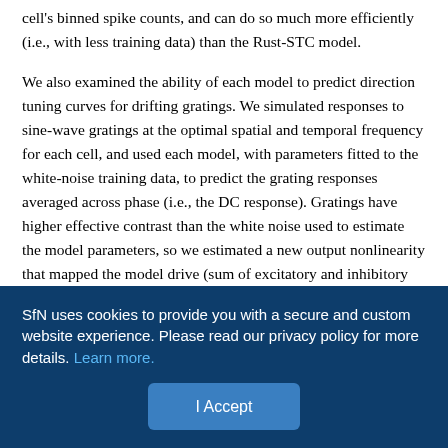cell's binned spike counts, and can do so much more efficiently (i.e., with less training data) than the Rust-STC model.
We also examined the ability of each model to predict direction tuning curves for drifting gratings. We simulated responses to sine-wave gratings at the optimal spatial and temporal frequency for each cell, and used each model, with parameters fitted to the white-noise training data, to predict the grating responses averaged across phase (i.e., the DC response). Gratings have higher effective contrast than the white noise used to estimate the model parameters, so we estimated a new output nonlinearity that mapped the model drive (sum of excitatory and inhibitory channels) to the observed spike count. We then compared these model-predicted direction tuning curves to the actual measured tuning curves (Fig. 9a
SfN uses cookies to provide you with a secure and custom website experience. Please read our privacy policy for more details. Learn more.